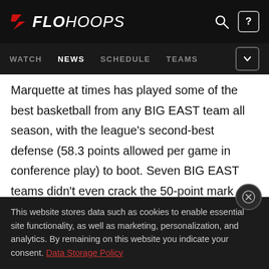FLOHOOPS — WATCH | NEWS | SCHEDULE | TEAMS
Marquette at times has played some of the best basketball from any BIG EAST team all season, with the league's second-best defense (58.3 points allowed per game in conference play) to boot. Seven BIG EAST teams didn't even crack the 50-point mark against Marquette, and coach Megan Duffy's team has proven it can score with the best of them, too, beating high-flyers DePaul in an 88-85 overtime thriller back in January
This website stores data such as cookies to enable essential site functionality, as well as marketing, personalization, and analytics. By remaining on this website you indicate your consent. Data Storage Policy